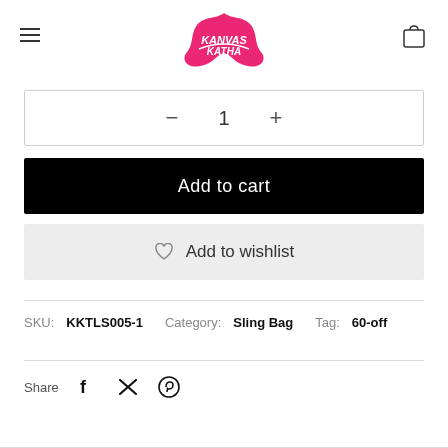[Figure (logo): Kanvas Katha brand logo in pink/red with flame design]
— 1 +
Add to cart
♡ Add to wishlist
SKU: KKTLS005-1   Category: Sling Bag   Tag: 60-off
Share  f  𝕏  ⓟ